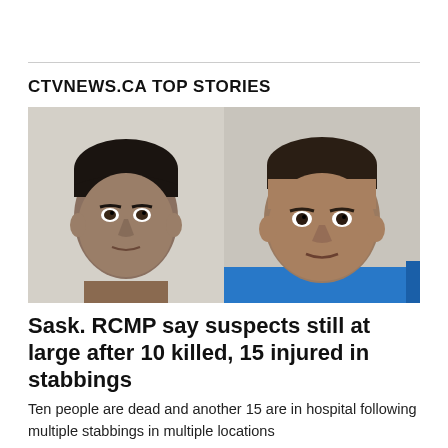CTVNEWS.CA TOP STORIES
[Figure (photo): Side-by-side mugshot-style photos of two male suspects in the Saskatchewan stabbings]
Sask. RCMP say suspects still at large after 10 killed, 15 injured in stabbings
Ten people are dead and another 15 are in hospital following multiple stabbings in multiple locations